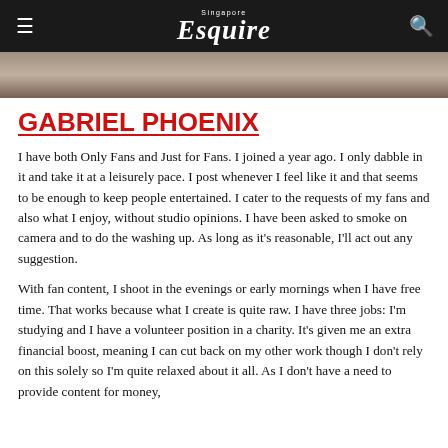Singapore Esquire
[Figure (photo): Partial photo strip at top of article page, showing a cropped image]
GABRIEL PHOENIX
I have both Only Fans and Just for Fans. I joined a year ago. I only dabble in it and take it at a leisurely pace. I post whenever I feel like it and that seems to be enough to keep people entertained. I cater to the requests of my fans and also what I enjoy, without studio opinions. I have been asked to smoke on camera and to do the washing up. As long as it's reasonable, I'll act out any suggestion.
With fan content, I shoot in the evenings or early mornings when I have free time. That works because what I create is quite raw. I have three jobs: I'm studying and I have a volunteer position in a charity. It's given me an extra financial boost, meaning I can cut back on my other work though I don't rely on this solely so I'm quite relaxed about it all. As I don't have a need to provide content for money,